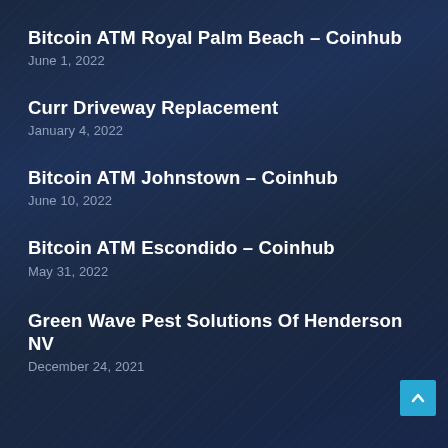Bitcoin ATM Royal Palm Beach – Coinhub
June 1, 2022
Curr Driveway Replacement
January 4, 2022
Bitcoin ATM Johnstown – Coinhub
June 10, 2022
Bitcoin ATM Escondido – Coinhub
May 31, 2022
Green Wave Pest Solutions Of Henderson NV
December 24, 2021